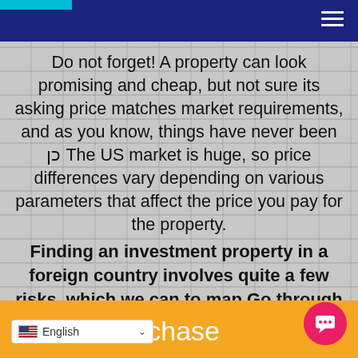Navigation header with hamburger menu
Do not forget! A property can look promising and cheap, but not sure its asking price matches market requirements, and as you know, things have never been כן The US market is huge, so price differences vary depending on various parameters that affect the price you pay for the property.
Finding an investment property in a foreign country involves quite a few risks, which we can to map Go through a comprehensive and
Purchase | English language selector